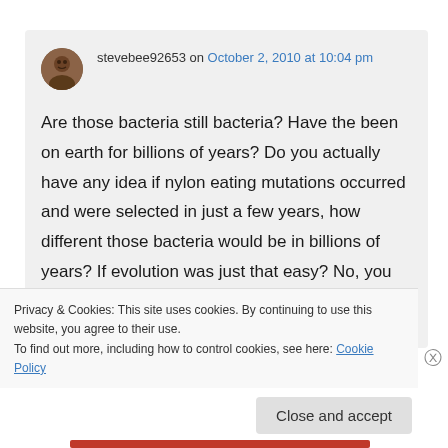stevebee92653 on October 2, 2010 at 10:04 pm
Are those bacteria still bacteria? Have the been on earth for billions of years? Do you actually have any idea if nylon eating mutations occurred and were selected in just a few years, how different those bacteria would be in billions of years? If evolution was just that easy? No, you are
Privacy & Cookies: This site uses cookies. By continuing to use this website, you agree to their use.
To find out more, including how to control cookies, see here: Cookie Policy
Close and accept